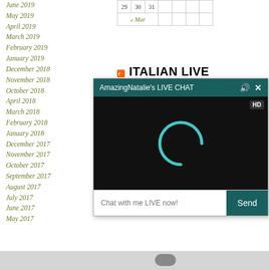June 2019
May 2019
April 2019
March 2019
February 2019
January 2019
December 2018
November 2018
October 2018
April 2018
March 2018
February 2018
January 2018
December 2017
November 2017
October 2017
September 2017
August 2017
July 2017
June 2017
May 2017
| 29 | 30 | 31 |
| --- | --- | --- |
| « Mar |  |  |
ITALIAN LIVE FUCKING
[Figure (screenshot): AmazingNatalie's LIVE CHAT popup overlay showing a dark video player with teal loading spinner and HD badge, plus a chat input field saying 'Chat with me LIVE now!' and a teal Send button]